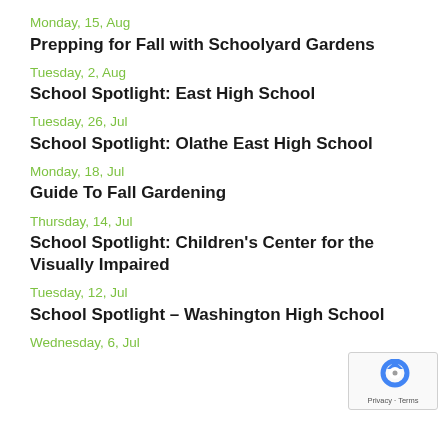Monday, 15, Aug
Prepping for Fall with Schoolyard Gardens
Tuesday, 2, Aug
School Spotlight: East High School
Tuesday, 26, Jul
School Spotlight: Olathe East High School
Monday, 18, Jul
Guide To Fall Gardening
Thursday, 14, Jul
School Spotlight: Children's Center for the Visually Impaired
Tuesday, 12, Jul
School Spotlight – Washington High School
Wednesday, 6, Jul